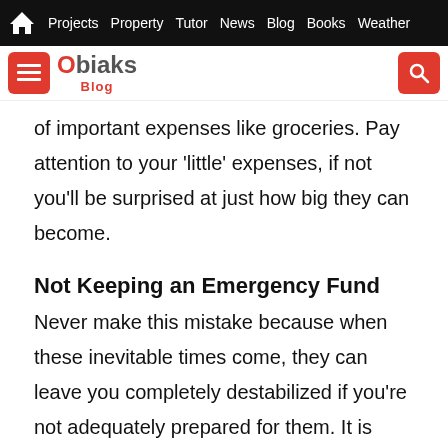Projects  Property  Tutor  News  Blog  Books  Weather
[Figure (logo): Obiaks Blog logo with menu and search buttons]
of important expenses like groceries. Pay attention to your 'little' expenses, if not you'll be surprised at just how big they can become.
Not Keeping an Emergency Fund
Never make this mistake because when these inevitable times come, they can leave you completely destabilized if you're not adequately prepared for them. It is best to have some money saved in an emergency fund or bank account